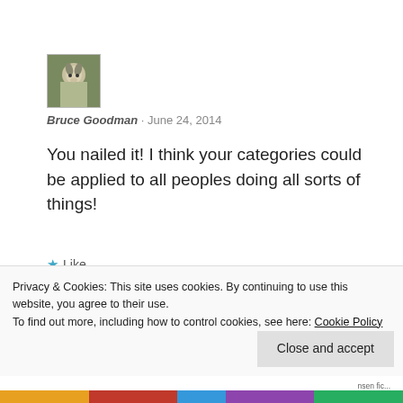[Figure (photo): Avatar image of a goat/animal photo, small square thumbnail with border]
Bruce Goodman · June 24, 2014
You nailed it! I think your categories could be applied to all peoples doing all sorts of things!
★ Like
Reply
[Figure (photo): Partial avatar thumbnail at bottom of page, partially obscured by cookie banner]
Privacy & Cookies: This site uses cookies. By continuing to use this website, you agree to their use.
To find out more, including how to control cookies, see here: Cookie Policy
Close and accept